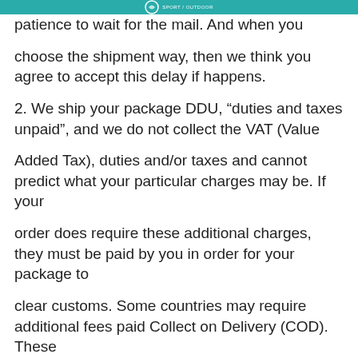patience to wait for the mail. And when you choose the shipment way, then we think you agree to accept this delay if happens.

2. We ship your package DDU, “duties and taxes unpaid”, and we do not collect the VAT (Value Added Tax), duties and/or taxes and cannot predict what your particular charges may be. If your order does require these additional charges, they must be paid by you in order for your package to clear customs. Some countries may require additional fees paid Collect on Delivery (COD). These fees are paid to the local carrier.